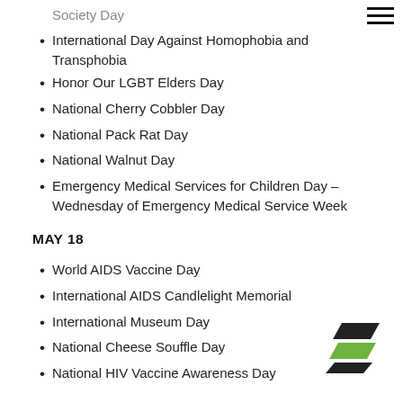Society Day
International Day Against Homophobia and Transphobia
Honor Our LGBT Elders Day
National Cherry Cobbler Day
National Pack Rat Day
National Walnut Day
Emergency Medical Services for Children Day – Wednesday of Emergency Medical Service Week
MAY 18
World AIDS Vaccine Day
International AIDS Candlelight Memorial
International Museum Day
National Cheese Souffle Day
National HIV Vaccine Awareness Day